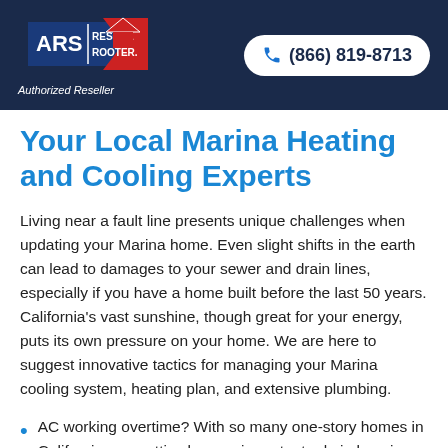[Figure (logo): ARS Rescue Rooter logo with red house/arrow shape and blue banner, with 'Authorized Reseller' text below]
(866) 819-8713
Your Local Marina Heating and Cooling Experts
Living near a fault line presents unique challenges when updating your Marina home. Even slight shifts in the earth can lead to damages to your sewer and drain lines, especially if you have a home built before the last 50 years. California's vast sunshine, though great for your energy, puts its own pressure on your home. We are here to suggest innovative tactics for managing your Marina cooling system, heating plan, and extensive plumbing.
AC working overtime? With so many one-story homes in California, your attic plays an important role in keeping out that intense sun. We can help